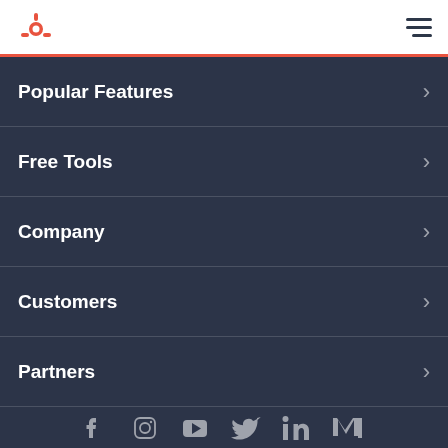HubSpot navigation header with logo and hamburger menu
Popular Features
Free Tools
Company
Customers
Partners
[Figure (infographic): Social media icons row: Facebook, Instagram, YouTube, Twitter, LinkedIn, Mediumish brand icon]